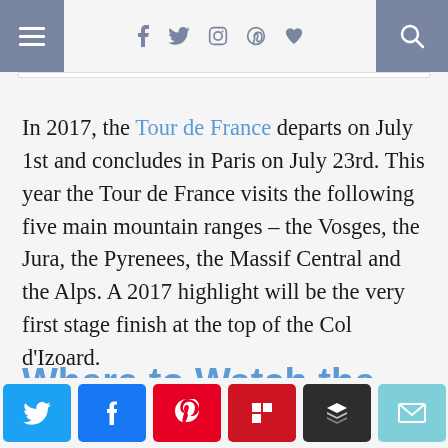Navigation bar with menu, social icons, and search
In 2017, the Tour de France departs on July 1st and concludes in Paris on July 23rd. This year the Tour de France visits the following five main mountain ranges – the Vosges, the Jura, the Pyrenees, the Massif Central and the Alps. A 2017 highlight will be the very first stage finish at the top of the Col d'Izoard.
Where to Watch the
[Figure (other): Social share buttons: Twitter, Facebook, Pinterest, Flipboard, Buffer, Email]